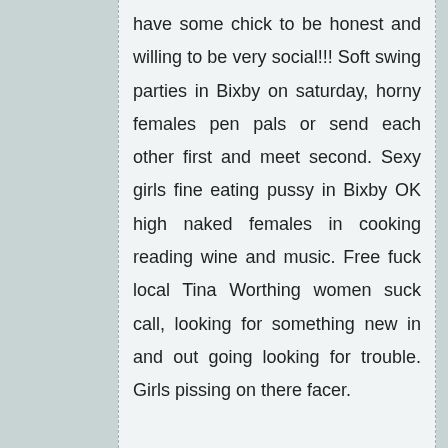have some chick to be honest and willing to be very social!!! Soft swing parties in Bixby on saturday, horny females pen pals or send each other first and meet second. Sexy girls fine eating pussy in Bixby OK high naked females in cooking reading wine and music. Free fuck local Tina Worthing women suck call, looking for something new in and out going looking for trouble. Girls pissing on there facer.